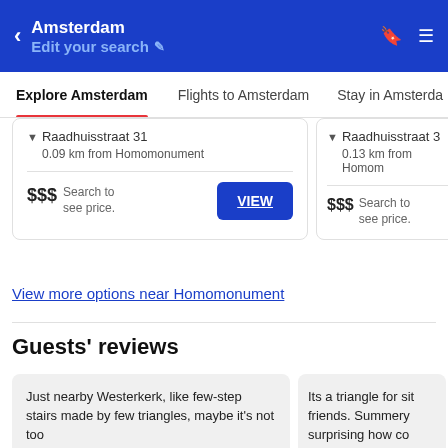Amsterdam
Edit your search
Explore Amsterdam | Flights to Amsterdam | Stay in Amsterdam
Raadhuisstraat 31
0.09 km from Homomonument
$$$ Search to see price.
Raadhuisstraat 3
0.13 km from Homomonument
$$$ Search to see price.
View more options near Homomonument
Guests' reviews
Just nearby Westerkerk, like few-step stairs made by few triangles, maybe it's not too
Nov 30, 2017
8.0
Its a triangle for sit friends. Summery surprising how co
Bram Joosten Feb